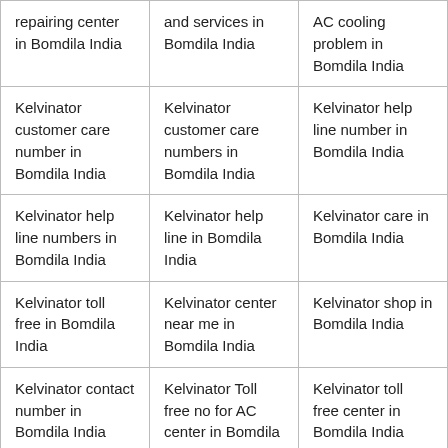| repairing center in Bomdila India | and services in Bomdila India | AC cooling problem in Bomdila India |
| Kelvinator customer care number in Bomdila India | Kelvinator customer care numbers in Bomdila India | Kelvinator help line number in Bomdila India |
| Kelvinator help line numbers in Bomdila India | Kelvinator help line in Bomdila India | Kelvinator care in Bomdila India |
| Kelvinator toll free in Bomdila India | Kelvinator center near me in Bomdila India | Kelvinator shop in Bomdila India |
| Kelvinator contact number in Bomdila India | Kelvinator Toll free no for AC center in Bomdila India | Kelvinator toll free center in Bomdila India |
| Kelvinator toll | Kelvinator repair | Kelvinator repair |